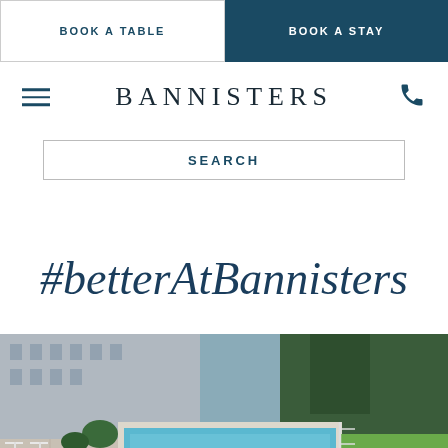BOOK A TABLE | BOOK A STAY
BANNISTERS
SEARCH
#betterAtBannisters
[Figure (photo): Aerial view of Bannisters hotel pool area with outdoor furniture, pool, and surrounding greenery]